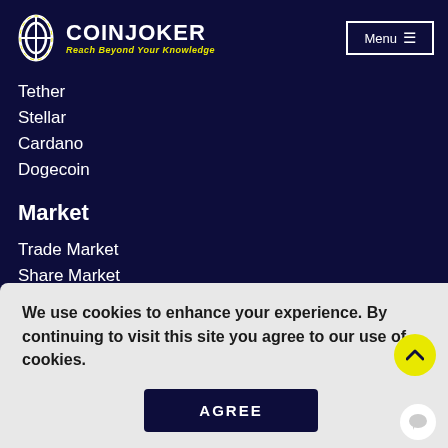COINJOKER - Reach Beyond Your Knowledge | Menu
Tether
Stellar
Cardano
Dogecoin
Market
Trade Market
Share Market
We use cookies to enhance your experience. By continuing to visit this site you agree to our use of cookies.
AGREE
Geofencing Technology